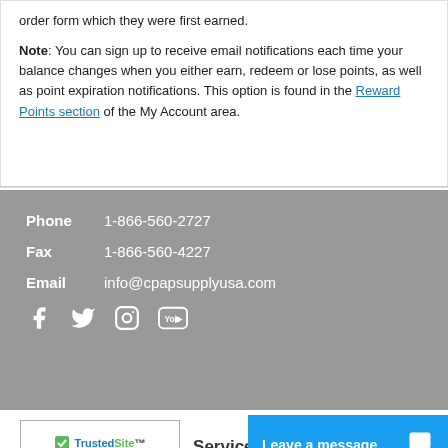order form which they were first earned.

Note: You can sign up to receive email notifications each time your balance changes when you either earn, redeem or lose points, as well as point expiration notifications. This option is found in the Reward Points section of the My Account area.
Phone   1-866-560-2727
Fax       1-866-560-4227
Email    info@cpapsupplyusa.com
[Figure (other): Social media icons: Facebook, Twitter, Instagram, YouTube]
[Figure (logo): TrustedSite CERTIFIED SECURE badge]
service
Leave a message